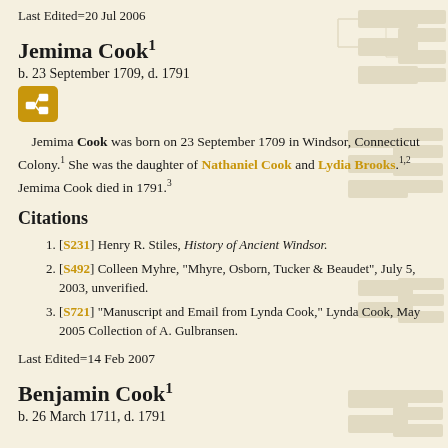Last Edited=20 Jul 2006
Jemima Cook¹
b. 23 September 1709, d. 1791
[Figure (other): Genealogy tree icon button (gold/orange square with tree icon)]
Jemima Cook was born on 23 September 1709 in Windsor, Connecticut Colony.¹ She was the daughter of Nathaniel Cook and Lydia Brooks.¹·² Jemima Cook died in 1791.³
Citations
[S231] Henry R. Stiles, History of Ancient Windsor.
[S492] Colleen Myhre, "Mhyre, Osborn, Tucker & Beaudet", July 5, 2003, unverified.
[S721] "Manuscript and Email from Lynda Cook," Lynda Cook, May 2005 Collection of A. Gulbransen.
Last Edited=14 Feb 2007
Benjamin Cook¹
b. 26 March 1711, d. 1791